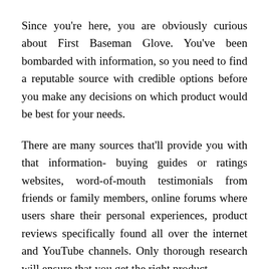Since you're here, you are obviously curious about First Baseman Glove. You've been bombarded with information, so you need to find a reputable source with credible options before you make any decisions on which product would be best for your needs.
There are many sources that'll provide you with that information- buying guides or ratings websites, word-of-mouth testimonials from friends or family members, online forums where users share their personal experiences, product reviews specifically found all over the internet and YouTube channels. Only thorough research will ensure that you get the right product.
But that's not always easy, right? That's why